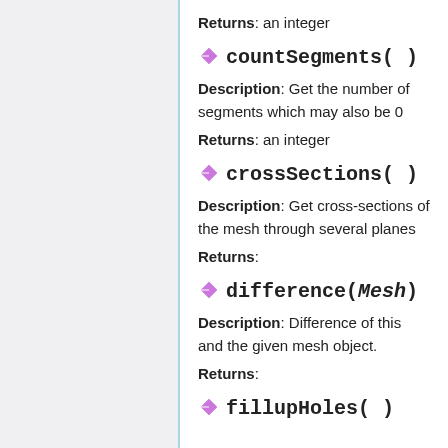Returns: an integer
countSegments( )
Description: Get the number of segments which may also be 0
Returns: an integer
crossSections( )
Description: Get cross-sections of the mesh through several planes
Returns:
difference(Mesh)
Description: Difference of this and the given mesh object.
Returns:
fillupHoles( )